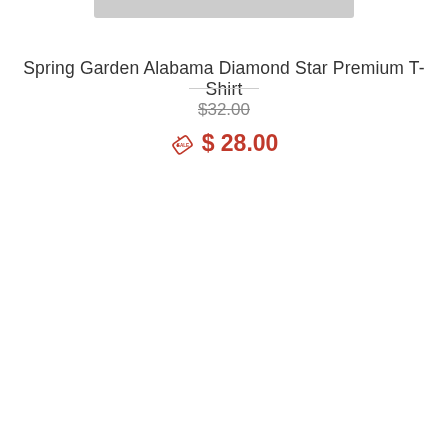[Figure (other): Top portion of a product image shown as a gray rectangle bar at the top of the page]
Spring Garden Alabama Diamond Star Premium T-Shirt
$32.00 (strikethrough original price)
$ 28.00 (sale price with sale tag icon)